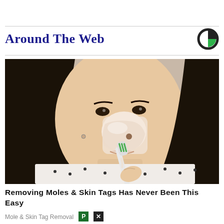Around The Web
[Figure (photo): Woman holding a toothbrush applying a cream/paste substance to her nose and face area, wearing a white patterned shirt, dark long hair, looking at camera]
Removing Moles & Skin Tags Has Never Been This Easy
Mole & Skin Tag Removal